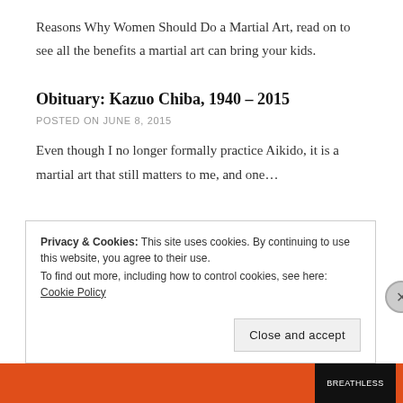Reasons Why Women Should Do a Martial Art, read on to see all the benefits a martial art can bring your kids.
Obituary: Kazuo Chiba, 1940 – 2015
POSTED ON JUNE 8, 2015
Even though I no longer formally practice Aikido, it is a martial art that still matters to me, and one…
Privacy & Cookies: This site uses cookies. By continuing to use this website, you agree to their use.
To find out more, including how to control cookies, see here: Cookie Policy
Close and accept